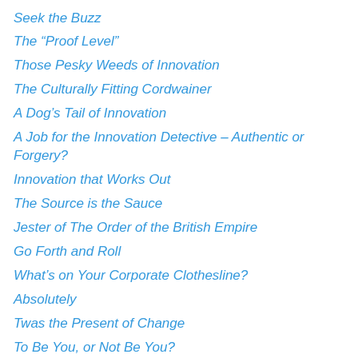Seek the Buzz
The “Proof Level”
Those Pesky Weeds of Innovation
The Culturally Fitting Cordwainer
A Dog’s Tail of Innovation
A Job for the Innovation Detective – Authentic or Forgery?
Innovation that Works Out
The Source is the Sauce
Jester of The Order of the British Empire
Go Forth and Roll
What’s on Your Corporate Clothesline?
Absolutely
Twas the Present of Change
To Be You, or Not Be You?
The Answer is Nothing
Manners maketh the Man, but Fingers maketh the Creative
No Splashing Allowed
The Brave New Office
Should it be Short, or Long?
Enduring Fashionable Zest